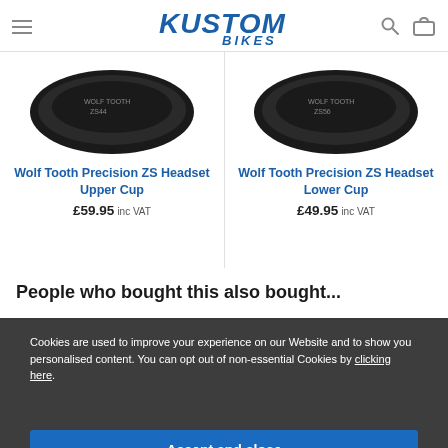Kustom Bikes
[Figure (photo): Wolf Tooth Precision ZS Headset Upper Cup product image - dark circular headset cup]
Wolf Tooth Precision ZS Headset Upper Cup
£59.95 inc VAT
[Figure (photo): Wolf Tooth Precision ZS Headset Lower Cup product image - dark circular headset cup]
Wolf Tooth Precision ZS Headset Lower Cup
£49.95 inc VAT
People who bought this also bought...
Cookies are used to improve your experience on our Website and to show you personalised content. You can opt out of non-essential Cookies by clicking here.
Accept and close
Hope Floating Disc Brake Rotor - 6 Bolt
Stan's No Tubes The Solution Tyre Sealant